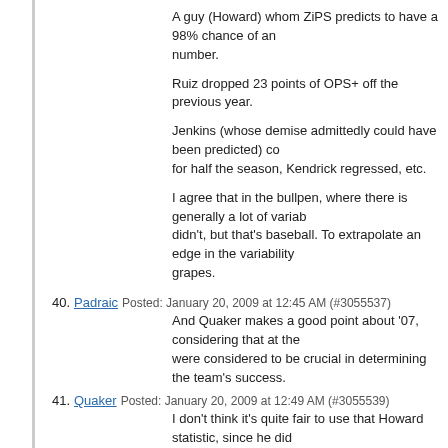A guy (Howard) whom ZiPS predicts to have a 98% chance of an number.
Ruiz dropped 23 points of OPS+ off the previous year.
Jenkins (whose demise admittedly could have been predicted) co for half the season, Kendrick regressed, etc.
I agree that in the bullpen, where there is generally a lot of variab didn't, but that's baseball. To extrapolate an edge in the variability grapes.
40. Padraic Posted: January 20, 2009 at 12:45 AM (#3055537) And Quaker makes a good point about '07, considering that at the were considered to be crucial in determining the team's success.
41. Quaker Posted: January 20, 2009 at 12:49 AM (#3055539) I don't think it's quite fair to use that Howard statistic, since he did
42. ColonelTom Posted: January 20, 2009 at 12:54 AM (#3055541) I'm waiting for the Mets to sign another big free agent. They have upgrades (Ramirez, Abreu, and Dunn) still on the market. Any of
43. Quaker Posted: January 20, 2009 at 12:54 AM (#3055542) Also, I'll add that I see the Mets as having more variance in their between 85 and 90 wins. I could see the Mets posting the best re don't add another starter and Delgado + one of the corner OFs do
I consider the Phils pretty strongly anchored to that 85-90 win ran in games, even if they experience an injury to a starter or two. Or exceed his ZIPS projection by a large margin other than Happ (h